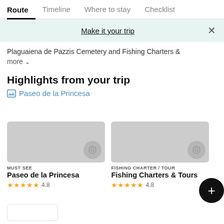Route | Timeline | Where to stay | Checklist
Make it your trip
Plaguaiena de Pazzis Cemetery and Fishing Charters & more
Highlights from your trip
Paseo de la Princesa
MUST SEE
Paseo de la Princesa
★★★★★ 4.8
FISHING CHARTER / TOUR
Fishing Charters & Tours
★★★★★ 4.8